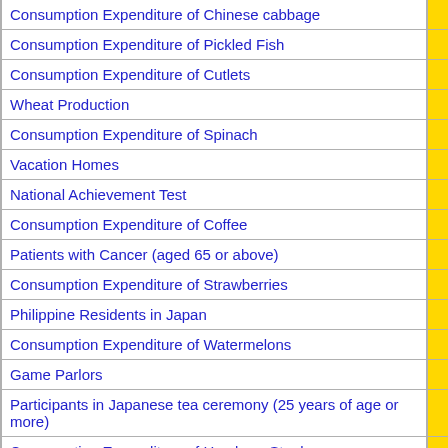| Name |  |
| --- | --- |
| Consumption Expenditure of Chinese cabbage |  |
| Consumption Expenditure of Pickled Fish |  |
| Consumption Expenditure of Cutlets |  |
| Wheat Production |  |
| Consumption Expenditure of Spinach |  |
| Vacation Homes |  |
| National Achievement Test |  |
| Consumption Expenditure of Coffee |  |
| Patients with Cancer (aged 65 or above) |  |
| Consumption Expenditure of Strawberries |  |
| Philippine Residents in Japan |  |
| Consumption Expenditure of Watermelons |  |
| Game Parlors |  |
| Participants in Japanese tea ceremony (25 years of age or more) |  |
| Consumption Expenditure of Hamburg Steak |  |
| Consumption Expenditure of Chocolate |  |
| Consumption Expenditure of Salmon |  |
| Patients with Major depressive disorder (aged 65 or above) |  |
| Consumption Expenditure of 'Senbei', Japanese Crackers |  |